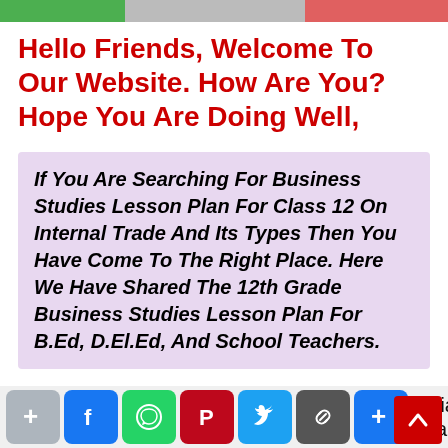[Figure (other): Top colored banner strip with green, gray, and red/orange sections, partially showing navigation or header images]
Hello Friends, Welcome To Our Website. How Are You? Hope You Are Doing Well,
If You Are Searching For Business Studies Lesson Plan For Class 12 On Internal Trade And Its Types Then You Have Come To The Right Place. Here We Have Shared The 12th Grade Business Studies Lesson Plan For B.Ed, D.El.Ed, And School Teachers.
This Business Studies Class 12 Internal Trade And Its Types Lesson Plan On Discussion And Especially Made Students B...